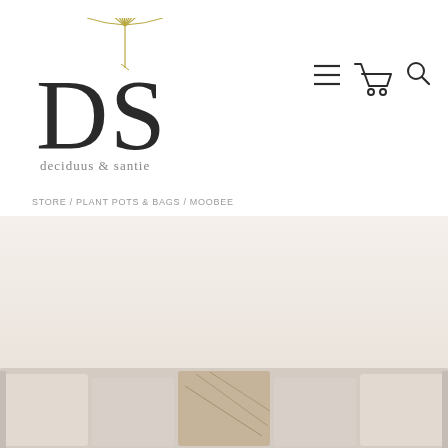[Figure (logo): DS deciduus & santie logo with ginkgo leaf decoration above the letters DS]
[Figure (illustration): Navigation icons: hamburger menu, shopping cart, and search magnifying glass]
STORE / PLANT POTS & BAGS / MOOBEE
[Figure (photo): Interior lifestyle photo showing a sofa with decorative cushions against a light neutral wall]